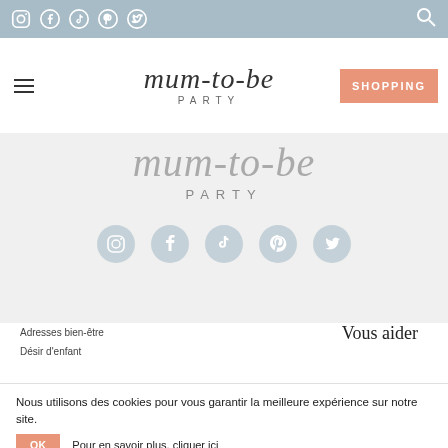[Figure (other): Top navigation bar with social media icons (Instagram, Facebook, TikTok, Pinterest, Twitter) on a light blue-grey background, with a search icon on the right]
[Figure (logo): Mum-to-be Party logo in cursive script with PARTY in spaced caps below, hamburger menu on left, SHOPPING button in salmon on right]
[Figure (other): Hero area on grey background showing Mum-to-be in large cursive and PARTY in spaced caps, with five social media icon circles (Instagram, Facebook, TikTok, Pinterest, Twitter) in muted blue]
Adresses bien-être
Désir d'enfant
Vous aider
Nous utilisons des cookies pour vous garantir la meilleure expérience sur notre site.
OK   Pour en savoir plus, cliquer ici